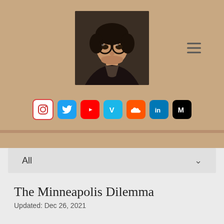[Figure (photo): Profile photo of a young man with glasses and dark hair wearing a black leather jacket, smiling slightly, against a dark background]
[Figure (infographic): Row of social media icons: Instagram (white on pink border), Twitter (white bird on blue), YouTube (white play on red), Vimeo (white V on blue), SoundCloud (white cloud on orange), LinkedIn (white in on blue), Medium (white M on black)]
All
The Minneapolis Dilemma
Updated: Dec 26, 2021